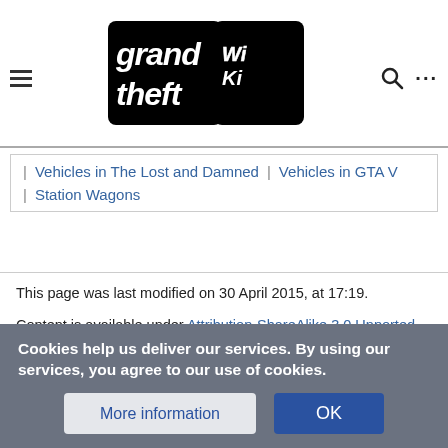Grand Theft Wiki logo with hamburger menu, search and more icons
Vehicles in The Lost and Damned | Vehicles in GTA V
Station Wagons
This page was last modified on 30 April 2015, at 17:19.
Content is available under Attribution-ShareAlike 3.0 Unported unless otherwise noted.
Privacy policy    About Grand Theft Wiki - The GTA Wiki
Content Licensing & Copyright    Mobile View
Cookies help us deliver our services. By using our services, you agree to our use of cookies.